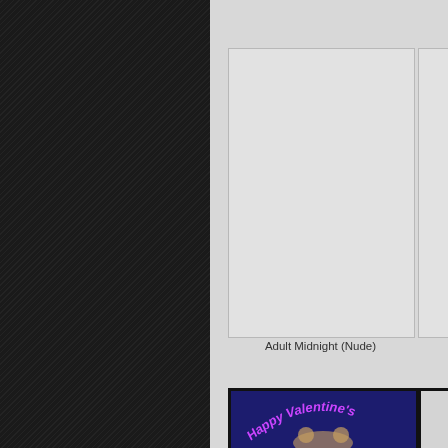[Figure (illustration): Dark textured left panel with diagonal line pattern on black background]
[Figure (illustration): Light gray right panel containing a light gray card/preview area (blank) with a thin border, positioned in upper right portion]
Adult Midnight (Nude)
[Figure (illustration): Bottom card with dark blue background and 'Happy Valentine's' text in purple/magenta with a cartoon character illustration, bordered in black]